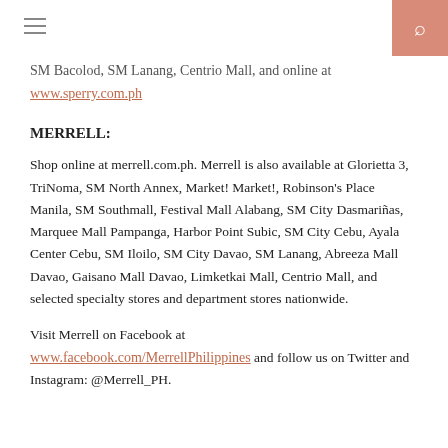SM Bacolod, SM Lanang, Centrio Mall, and online at www.sperry.com.ph
MERRELL:
Shop online at merrell.com.ph. Merrell is also available at Glorietta 3, TriNoma, SM North Annex, Market! Market!, Robinson’s Place Manila, SM Southmall, Festival Mall Alabang, SM City Dasmariñas, Marquee Mall Pampanga, Harbor Point Subic, SM City Cebu, Ayala Center Cebu, SM Iloilo, SM City Davao, SM Lanang, Abreeza Mall Davao, Gaisano Mall Davao, Limketkai Mall, Centrio Mall, and selected specialty stores and department stores nationwide.
Visit Merrell on Facebook at www.facebook.com/MerrellPhilippines and follow us on Twitter and Instagram: @Merrell_PH.